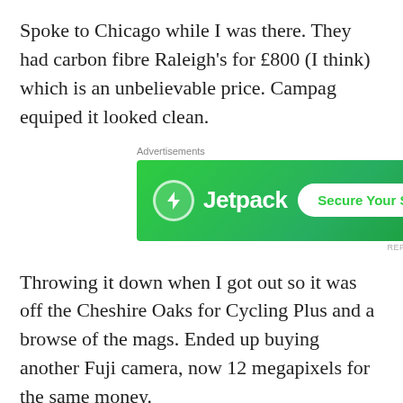Spoke to Chicago while I was there. They had carbon fibre Raleigh's for £800 (I think) which is an unbelievable price. Campag equiped it looked clean.
[Figure (other): Jetpack advertisement banner with green background showing Jetpack logo and 'Secure Your Site' button]
Throwing it down when I got out so it was off the Cheshire Oaks for Cycling Plus and a browse of the mags. Ended up buying another Fuji camera, now 12 megapixels for the same money.
Another class at West Kirby in the Mapei kit as